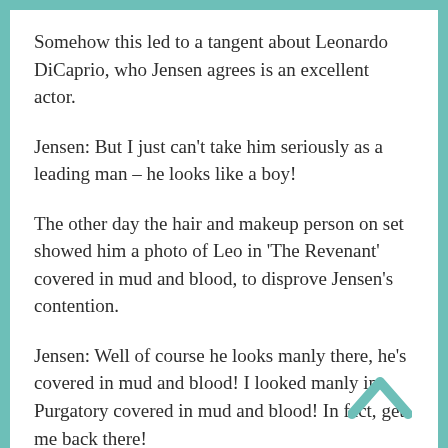Somehow this led to a tangent about Leonardo DiCaprio, who Jensen agrees is an excellent actor.
Jensen: But I just can't take him seriously as a leading man – he looks like a boy!
The other day the hair and makeup person on set showed him a photo of Leo in 'The Revenant' covered in mud and blood, to disprove Jensen's contention.
Jensen: Well of course he looks manly there, he's covered in mud and blood! I looked manly in Purgatory covered in mud and blood! In fact, get me back there!
Pretty sure no one in the room needed any